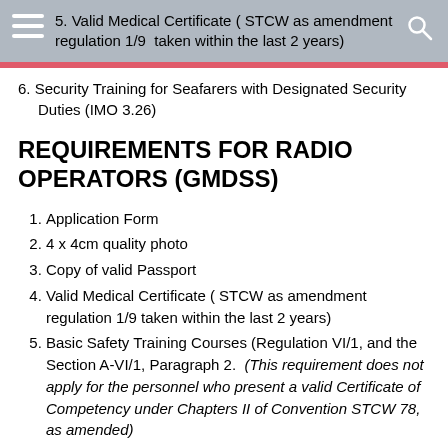5. Valid Medical Certificate ( STCW as amendment regulation 1/9  taken within the last 2 years)
6. Security Training for Seafarers with Designated Security Duties (IMO 3.26)
REQUIREMENTS FOR RADIO OPERATORS (GMDSS)
1. Application Form
2. 4 x 4cm quality photo
3. Copy of valid Passport
4. Valid Medical Certificate ( STCW as amendment regulation 1/9 taken within the last 2 years)
5. Basic Safety Training Courses (Regulation VI/1, and the Section A-VI/1, Paragraph 2. (This requirement does not apply for the personnel who present a valid Certificate of Competency under Chapters II of Convention STCW 78, as amended)
6. General Operator or Restricted GMDSS (IMO 1.25 or 1.26), or  Electronic Radio Operator 1st or 2nd Class